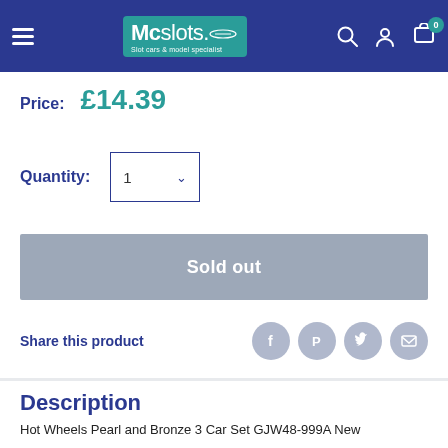McSlots - Slot cars & model specialist
Price: £14.39
Quantity: 1
Sold out
Share this product
Description
Hot Wheels Pearl and Bronze 3 Car Set GJW48-999A New